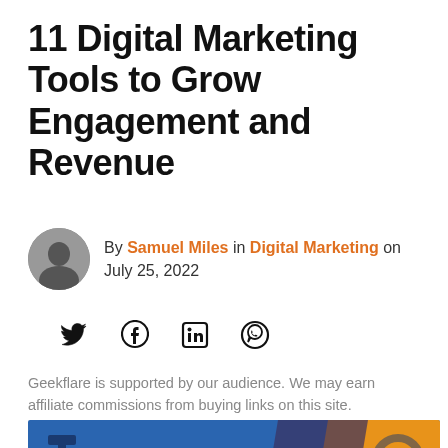11 Digital Marketing Tools to Grow Engagement and Revenue
By Samuel Miles in Digital Marketing on July 25, 2022
[Figure (infographic): Social share icons: Twitter, Facebook, LinkedIn, WhatsApp]
Geekflare is supported by our audience. We may earn affiliate commissions from buying links on this site.
[Figure (photo): Hero image showing digital marketing strategy illustration with blue and orange colors, featuring tools and the word STRATEGY]